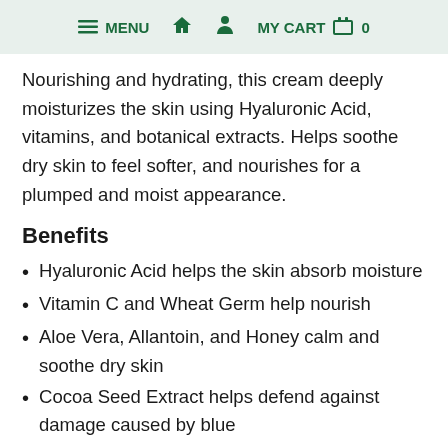MENU  MY CART  0
Nourishing and hydrating, this cream deeply moisturizes the skin using Hyaluronic Acid, vitamins, and botanical extracts. Helps soothe dry skin to feel softer, and nourishes for a plumped and moist appearance.
Benefits
Hyaluronic Acid helps the skin absorb moisture
Vitamin C and Wheat Germ help nourish
Aloe Vera, Allantoin, and Honey calm and soothe dry skin
Cocoa Seed Extract helps defend against damage caused by blue